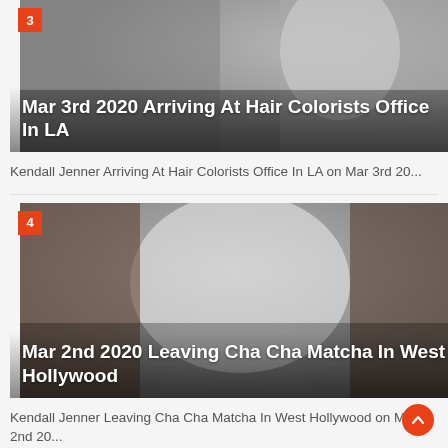[Figure (photo): Blurry photo of Kendall Jenner arriving at hair colorists office in LA, with number badge 3 and title overlay]
Mar 3rd 2020 Arriving At Hair Colorists Office In LA
Kendall Jenner Arriving At Hair Colorists Office In LA on Mar 3rd 20...
[Figure (photo): Blurry photo of Kendall Jenner leaving Cha Cha Matcha in West Hollywood, with number badge 4 and title overlay]
Mar 2nd 2020 Leaving Cha Cha Matcha In West Hollywood
Kendall Jenner Leaving Cha Cha Matcha In West Hollywood on Mar 2nd 20...